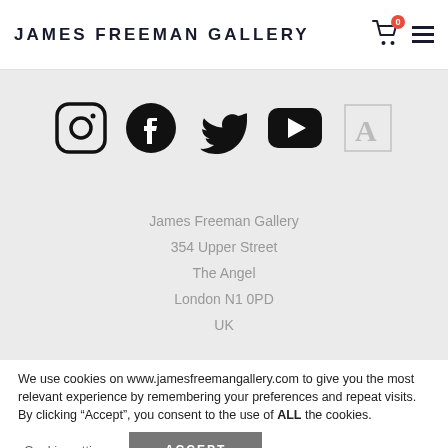JAMES FREEMAN GALLERY
[Figure (infographic): Social media icons: Instagram, Facebook, Twitter, YouTube, and an Artfinder/A icon]
James Freeman Gallery
354 Upper Street
The Angel
London N1 0PD
UK
We use cookies on www.jamesfreemangallery.com to give you the most relevant experience by remembering your preferences and repeat visits. By clicking “Accept”, you consent to the use of ALL the cookies.
Cookie settings  ACCEPT